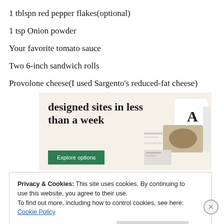1 tblspn red pepper flakes(optional)
1 tsp Onion powder
Your favorite tomato sauce
Two 6-inch sandwich rolls
Provolone cheese(I used Sargento's reduced-fat cheese)
[Figure (screenshot): Advertisement banner with beige background showing 'designed sites in less than a week' with a green 'Explore options' button and website mockup images on the right]
Privacy & Cookies: This site uses cookies. By continuing to use this website, you agree to their use.
To find out more, including how to control cookies, see here: Cookie Policy